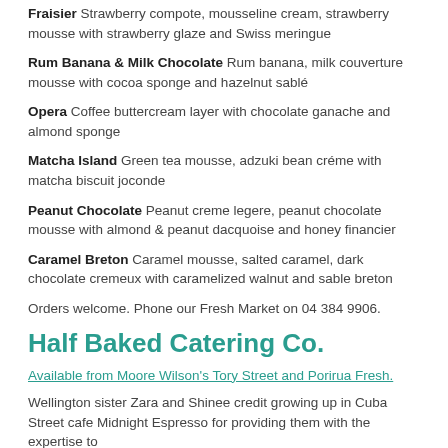Fraisier Strawberry compote, mousseline cream, strawberry mousse with strawberry glaze and Swiss meringue
Rum Banana & Milk Chocolate Rum banana, milk couverture mousse with cocoa sponge and hazelnut sablé
Opera Coffee buttercream layer with chocolate ganache and almond sponge
Matcha Island Green tea mousse, adzuki bean créme with matcha biscuit joconde
Peanut Chocolate Peanut creme legere, peanut chocolate mousse with almond & peanut dacquoise and honey financier
Caramel Breton Caramel mousse, salted caramel, dark chocolate cremeux with caramelized walnut and sable breton
Orders welcome. Phone our Fresh Market on 04 384 9906.
Half Baked Catering Co.
Available from Moore Wilson's Tory Street and Porirua Fresh.
Wellington sister Zara and Shinee credit growing up in Cuba Street cafe Midnight Espresso for providing them with the expertise to